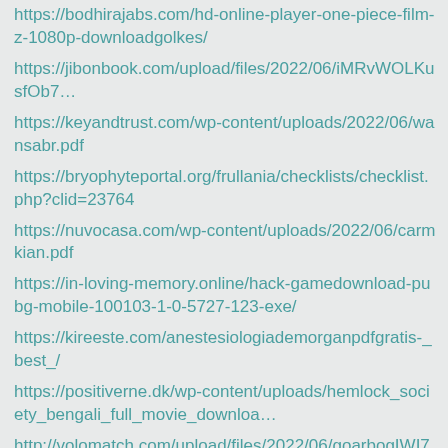https://bodhirajabs.com/hd-online-player-one-piece-film-z-1080p-downloadgolkes/
https://jibonbook.com/upload/files/2022/06/iMRvWOLKusfOb7…
https://keyandtrust.com/wp-content/uploads/2022/06/wansabr.pdf
https://bryophyteportal.org/frullania/checklists/checklist.php?clid=23764
https://nuvocasa.com/wp-content/uploads/2022/06/carmkian.pdf
https://in-loving-memory.online/hack-gamedownload-pubg-mobile-100103-1-0-5727-123-exe/
https://kireeste.com/anestesiologiademorganpdfgratis-_best_/
https://positiverne.dk/wp-content/uploads/hemlock_society_bengali_full_movie_downloa…
http://volomatch.com/upload/files/2022/06/goarbogIWI77OyhA…